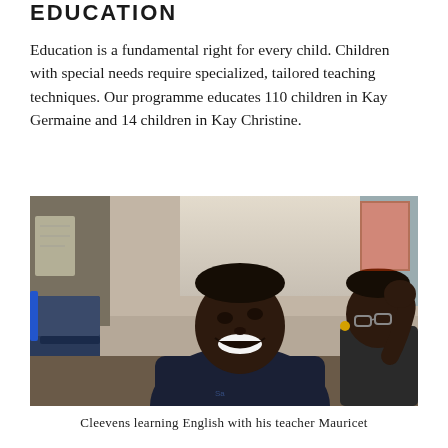EDUCATION
Education is a fundamental right for every child. Children with special needs require specialized, tailored teaching techniques. Our programme educates 110 children in Kay Germaine and 14 children in Kay Christine.
[Figure (photo): Two students in a classroom setting. The central figure is a young man in a dark navy sweatshirt smiling and looking upward, with a second student visible to the right. A wheelchair is visible on the left side. Classroom decorations and a window with curtain are in the background.]
Cleevens learning English with his teacher Mauricet